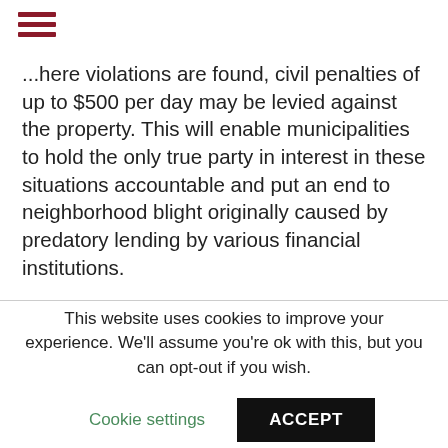≡
...here violations are found, civil penalties of up to $500 per day may be levied against the property. This will enable municipalities to hold the only true party in interest in these situations accountable and put an end to neighborhood blight originally caused by predatory lending by various financial institutions.
The information contained in this article is provided for informational purposes only and is not and should not be construed as legal advice on any subject matter. The firm provides legal advice and other services only to persons or entities with which it has established an attorney-client relationship.
This website uses cookies to improve your experience. We'll assume you're ok with this, but you can opt-out if you wish. Cookie settings ACCEPT